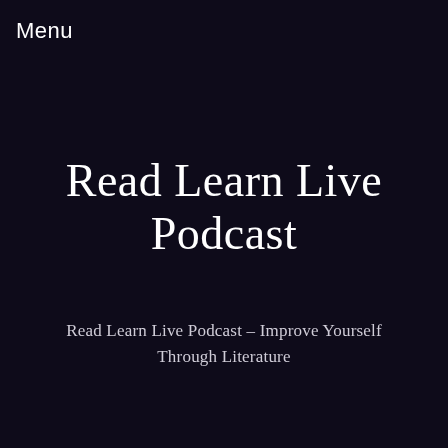Menu
Read Learn Live Podcast
Read Learn Live Podcast – Improve Yourself Through Literature